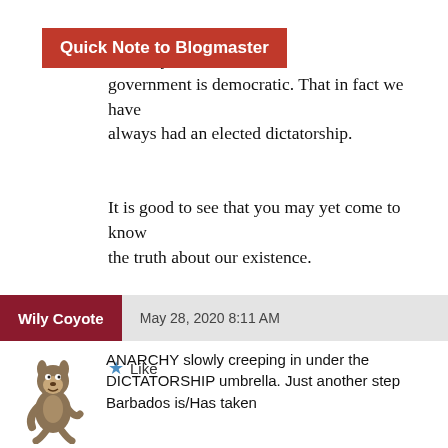Quick Note to Blogmaster
…have contended for …ut our system of government is democratic. That in fact we have always had an elected dictatorship.
It is good to see that you may yet come to know the truth about our existence.
Congratulations!
★ Like
Wily Coyote   May 28, 2020 8:11 AM
ANARCHY slowly creeping in under the DICTATORSHIP umbrella. Just another step Barbados is/Has taken …the DICTATORSHIP…